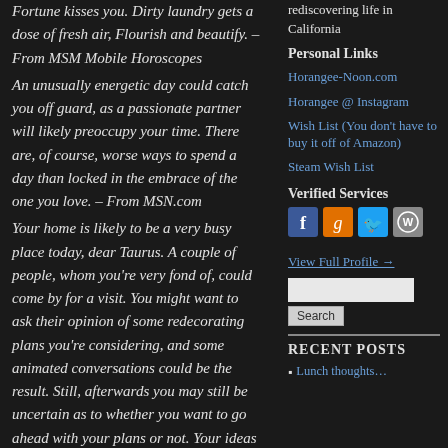Fortune kisses you. Dirty laundry gets a dose of fresh air, Flourish and beautify. – From MSM Mobile Horoscopes
An unusually energetic day could catch you off guard, as a passionate partner will likely preoccupy your time. There are, of course, worse ways to spend a day than locked in the embrace of the one you love. – From MSN.com
Your home is likely to be a very busy place today, dear Taurus. A couple of people, whom you're very fond of, could come by for a visit. You might want to ask their opinion of some redecorating plans you're considering, and some animated conversations could be the result. Still, afterwards you may still be uncertain as to whether you want to go ahead with your plans or not. Your ideas may be too ambitious to put into operation at this time. You could strike up a new friendship with
rediscovering life in California
Personal Links
Horangee-Noon.com
Horangee @ Instagram
Wish List (You don't have to buy it off of Amazon)
Steam Wish List
Verified Services
[Figure (other): Social media icons: Facebook, Goodreads, Twitter, WordPress]
View Full Profile →
RECENT POSTS
Lunch thoughts…